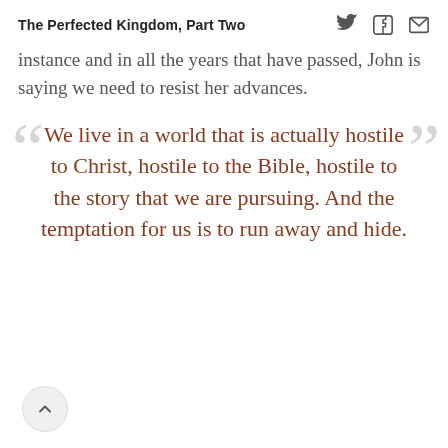The Perfected Kingdom, Part Two
instance and in all the years that have passed, John is saying we need to resist her advances.
We live in a world that is actually hostile to Christ, hostile to the Bible, hostile to the story that we are pursuing. And the temptation for us is to run away and hide.